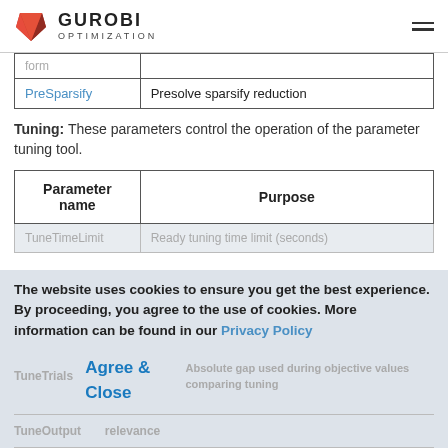GUROBI OPTIMIZATION
|  |  |
| --- | --- |
| form |  |
| PreSparsify | Presolve sparsify reduction |
Tuning: These parameters control the operation of the parameter tuning tool.
| Parameter name | Purpose |
| --- | --- |
| TuneTimeLimit | Total tuning time limit (seconds) |
| TuneTrials |  |
| Agree & Close | Absolute gap used when comparing objective values during tuning |
| TuneOutput |  |
The website uses cookies to ensure you get the best experience. By proceeding, you agree to the use of cookies. More information can be found in our Privacy Policy